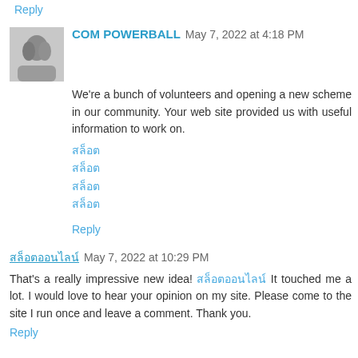Reply
COM POWERBALL May 7, 2022 at 4:18 PM
We're a bunch of volunteers and opening a new scheme in our community. Your web site provided us with useful information to work on.
สล็อต
สล็อต
สล็อต
สล็อต
Reply
สล็อตออนไลน์ May 7, 2022 at 10:29 PM
That's a really impressive new idea! สล็อตออนไลน์ It touched me a lot. I would love to hear your opinion on my site. Please come to the site I run once and leave a comment. Thank you.
Reply